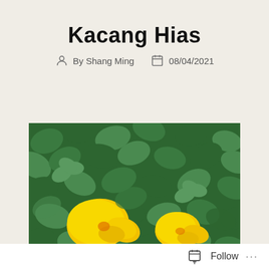Kacang Hias
By Shang Ming   08/04/2021
[Figure (photo): Close-up photograph of Kacang Hias (ornamental peanut) plant with bright yellow flowers and dense green trifoliate leaves]
Follow ...